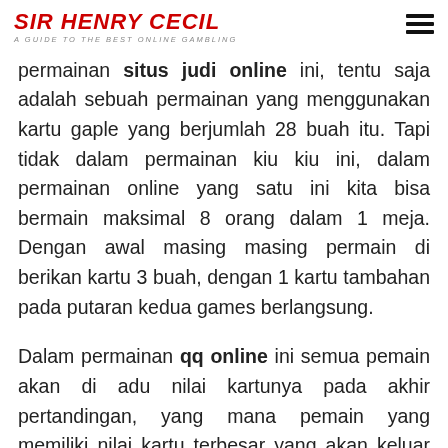SIR HENRY CECIL — A GUIDE TO THE BEST ONLINE GAMBLING
permainan situs judi online ini, tentu saja adalah sebuah permainan yang menggunakan kartu gaple yang berjumlah 28 buah itu. Tapi tidak dalam permainan kiu kiu ini, dalam permainan online yang satu ini kita bisa bermain maksimal 8 orang dalam 1 meja. Dengan awal masing masing permain di berikan kartu 3 buah, dengan 1 kartu tambahan pada putaran kedua games berlangsung.
Dalam permainan qq online ini semua pemain akan di adu nilai kartunya pada akhir pertandingan, yang mana pemain yang memiliki nilai kartu terbesar yang akan keluar sebagai pemenangnya. Permain dapat dinyatakan menang apabila memiliki nilai kartu